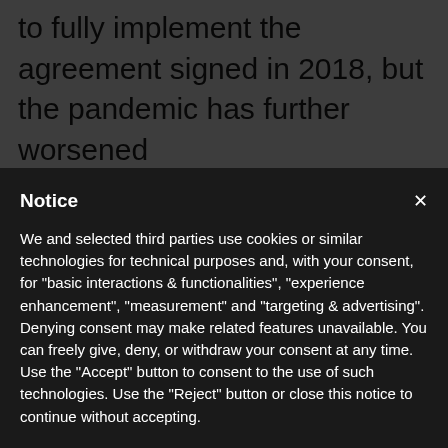to fully implement the agreement signed in 2018, but the pandemic has further worsened
Notice
We and selected third parties use cookies or similar technologies for technical purposes and, with your consent, for “basic interactions & functionalities”, “experience enhancement”, “measurement” and “targeting & advertising”. Denying consent may make related features unavailable. You can freely give, deny, or withdraw your consent at any time.
Use the “Accept” button to consent to the use of such technologies. Use the “Reject” button or close this notice to continue without accepting.
Reject
Accept
Learn more and customise